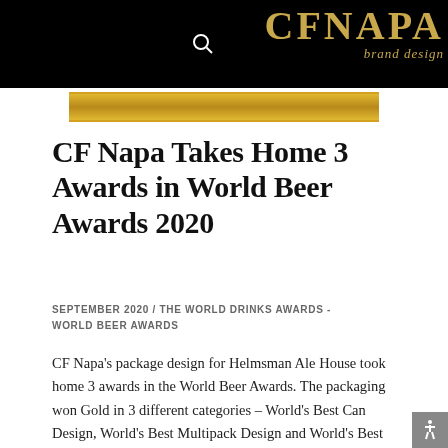CF NAPA brand design
[Figure (logo): CF Napa brand design logo in gold text on black background with search icon]
CF Napa Takes Home 3 Awards in World Beer Awards 2020
SEPTEMBER 2020 / THE WORLD DRINKS AWARDS - WORLD BEER AWARDS
CF Napa’s package design for Helmsman Ale House took home 3 awards in the World Beer Awards. The packaging won Gold in 3 different categories – World’s Best Can Design, World’s Best Multipack Design and World’s Best New Launch. Additionally, the design won Best Can Design